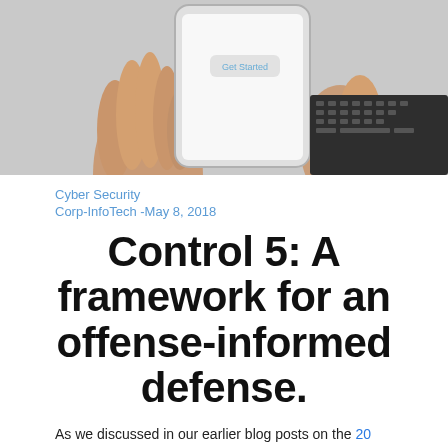[Figure (photo): A hand holding a smartphone displaying a 'Get Started' button on the screen, with a keyboard visible in the background.]
Cyber Security
Corp-InfoTech -May 8, 2018
Control 5:  A framework for an offense-informed defense.
As we discussed in our earlier blog posts on the 20 Critical Security Controls, they provide an offense-informs-defense framework through which an